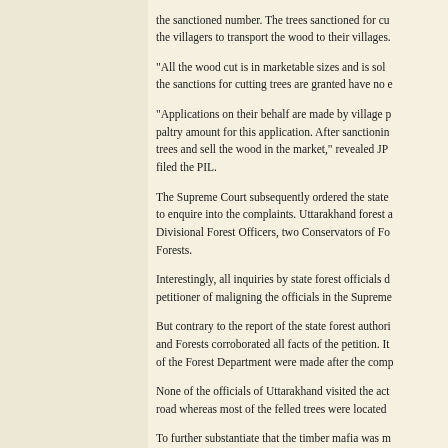the sanctioned number. The trees sanctioned for cu the villagers to transport the wood to their villages.
“All the wood cut is in marketable sizes and is sol the sanctions for cutting trees are granted have no e
“Applications on their behalf are made by village p paltry amount for this application. After sanctionin trees and sell the wood in the market,” revealed JP filed the PIL.
The Supreme Court subsequently ordered the state to enquire into the complaints. Uttarakhand forest a Divisional Forest Officers, two Conservators of Fo Forests.
Interestingly, all inquiries by state forest officials d petitioner of maligning the officials in the Supreme
But contrary to the report of the state forest authori and Forests corroborated all facts of the petition. It of the Forest Department were made after the comp
None of the officials of Uttarakhand visited the act road whereas most of the felled trees were located
To further substantiate that the timber mafia was m could not have been for the use of the villagers bec which are nearly 80 km away from the site of felli very cumbersome and it is difficult for the poor an